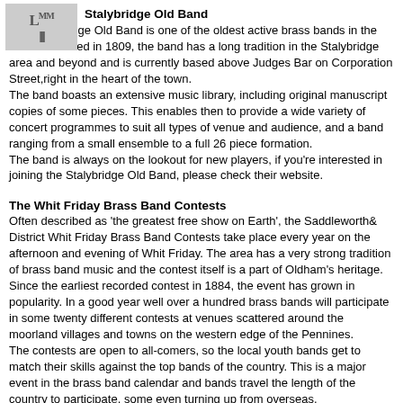Stalybridge Old Band
The Stalybridge Old Band is one of the oldest active brass bands in the world. Founded in 1809, the band has a long tradition in the Stalybridge area and beyond and is currently based above Judges Bar on Corporation Street,right in the heart of the town.
The band boasts an extensive music library, including original manuscript copies of some pieces. This enables then to provide a wide variety of concert programmes to suit all types of venue and audience, and a band ranging from a small ensemble to a full 26 piece formation.
The band is always on the lookout for new players, if you're interested in joining the Stalybridge Old Band, please check their website.
The Whit Friday Brass Band Contests
Often described as 'the greatest free show on Earth', the Saddleworth& District Whit Friday Brass Band Contests take place every year on the afternoon and evening of Whit Friday. The area has a very strong tradition of brass band music and the contest itself is a part of Oldham's heritage.
Since the earliest recorded contest in 1884, the event has grown in popularity. In a good year well over a hundred brass bands will participate in some twenty different contests at venues scattered around the moorland villages and towns on the western edge of the Pennines.
The contests are open to all-comers, so the local youth bands get to match their skills against the top bands of the country. This is a major event in the brass band calendar and bands travel the length of the country to participate, some even turning up from overseas.
Oldham Music Venues
For a chance to see one of Oldham's up and coming bands in a relaxed, friendly atmosphere, visit one of our many thriving live music venues.
The Queen Elisabeth Hall: 15,000Sq.Ft. Venue with three bars & attached conference and meeting rooms.